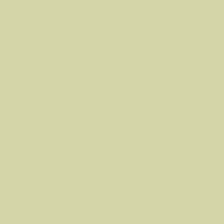replied.
Back to top
How do I add a signature to my post?
To add a signature to a post you must first created you can check the Add Signature b can also add a signature by default to all yo your profile. You can still prevent a signatur the add signature box on the posting form.
Back to top
How do I create a poll?
Creating a poll is easy -- when you post a n permission) you should see a Add Poll form then you probably do not have rights to crea then at least two options -- to set an option button. You can also set a time limit for the to the number of options you can list, which
Back to top
How do I edit or delete a poll?
As with posts, polls can only be edited by th administrator. To edit a poll, click the first po associated with it. If no one has cast a vote option. However, if people have already pla edit or delete it; this is to prevent people